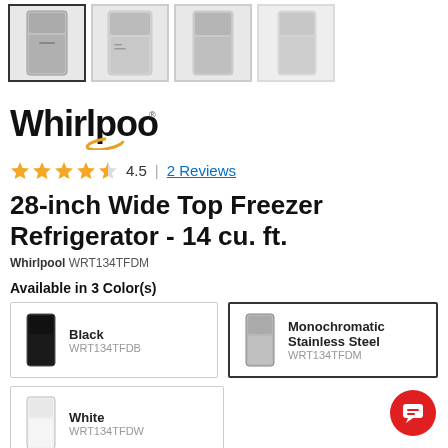[Figure (photo): Row of 4 thumbnail images of a Whirlpool refrigerator from different angles, first one selected/highlighted]
[Figure (logo): Whirlpool brand logo in black serif font with gold swirl]
4.5 | 2 Reviews
28-inch Wide Top Freezer Refrigerator - 14 cu. ft.
Whirlpool WRT134TFDM
Available in 3 Color(s)
Black
WRT134TFDB
Monochromatic Stainless Steel
WRT134TFDM
White
WRT134TFDW